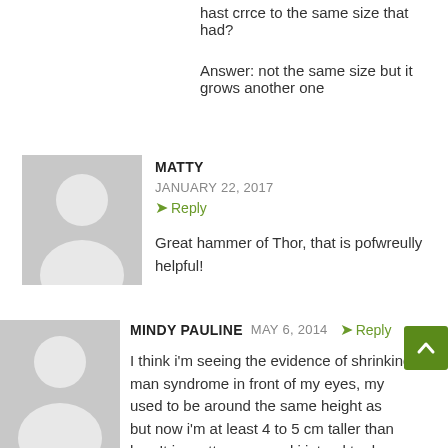hast crrce to the same size that had?
Answer: not the same size but it grows another one
[Figure (illustration): Gray avatar placeholder with silhouette of person (head and shoulders) for user MATTY]
MATTY
JANUARY 22, 2017
Reply
Great hammer of Thor, that is pofwreully helpful!
[Figure (illustration): Gray avatar placeholder with silhouette of person (head and shoulders) for user MINDY PAULINE]
MINDY PAULINE
MAY 6, 2014
Reply
I think i'm seeing the evidence of shrinking man syndrome in front of my eyes, my used to be around the same height as but now i'm at least 4 to 5 cm taller than her. It is pretty scary and i intend to do